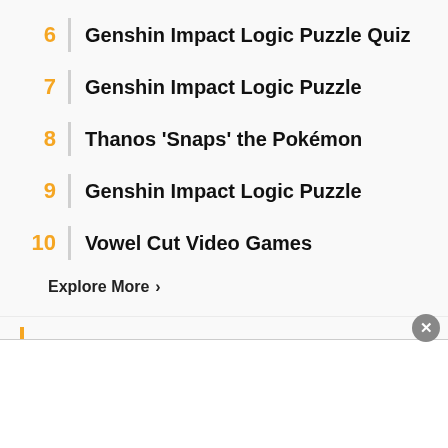6 | Genshin Impact Logic Puzzle Quiz
7 | Genshin Impact Logic Puzzle
8 | Thanos 'Snaps' the Pokémon
9 | Genshin Impact Logic Puzzle
10 | Vowel Cut Video Games
Explore More ›
More By: 🌐 WackyZacky